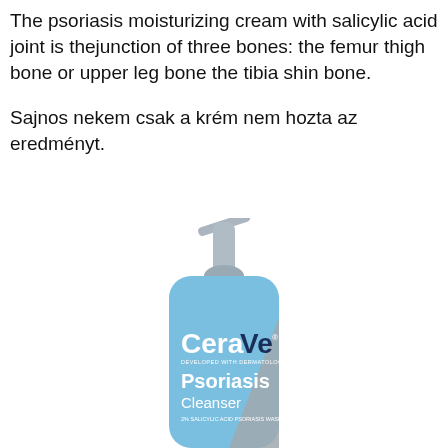The psoriasis moisturizing cream with salicylic acid joint is thejunction of three bones: the femur thigh bone or upper leg bone the tibia shin bone.
Sajnos nekem csak a krém nem hozta az eredményt.
[Figure (photo): CeraVe Psoriasis Cleanser pump bottle. A blue bottle with a silver pump dispenser. The label reads 'CeraVe' in large white letters, 'Psoriasis' in bold white, 'Cleanser' in white, and '2% Salicylic Acid Psoriasis Wash' in small text. A grey triangular design element is on the right side of the bottle.]